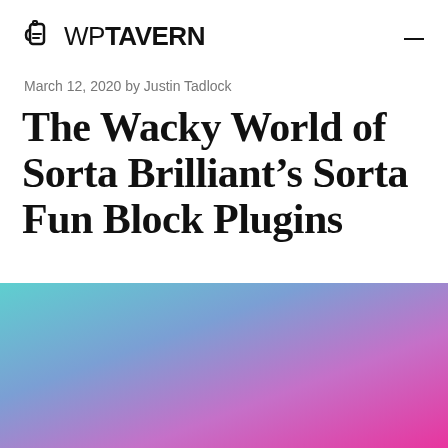WP TAVERN
March 12, 2020 by Justin Tadlock
The Wacky World of Sorta Brilliant’s Sorta Fun Block Plugins
[Figure (illustration): Gradient background image transitioning from teal/cyan on the left to purple/magenta on the right, covering the lower portion of the page.]